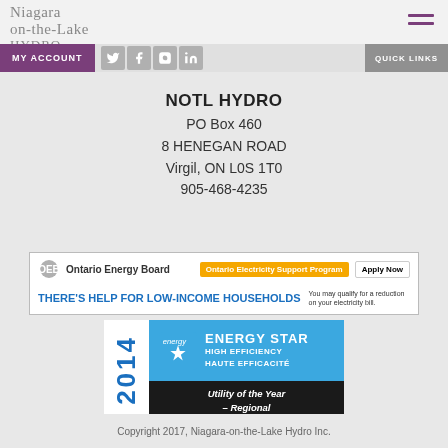Niagara on-the-Lake Hydro — MY ACCOUNT | QUICK LINKS
NOTL HYDRO
PO Box 460
8 HENEGAN ROAD
Virgil, ON L0S 1T0
905-468-4235
[Figure (infographic): Ontario Energy Board banner — Ontario Electricity Support Program Apply Now. THERE'S HELP FOR LOW-INCOME HOUSEHOLDS. You may qualify for a reduction on your electricity bill.]
[Figure (logo): 2014 ENERGY STAR HIGH EFFICIENCY HAUTE EFFICACITÉ Utility of the Year – Regional award badge]
Copyright 2017, Niagara-on-the-Lake Hydro Inc.